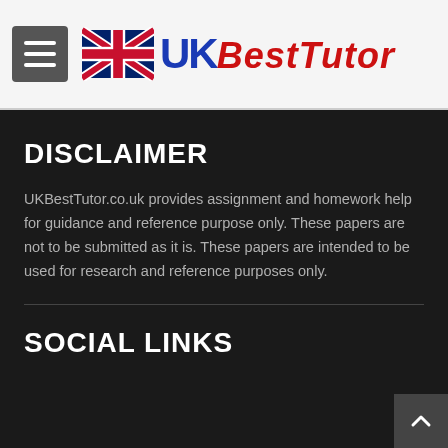[Figure (logo): UKBestTutor.co.uk logo with UK flag and stylized text]
DISCLAIMER
UKBestTutor.co.uk provides assignment and homework help for guidance and reference purpose only. These papers are not to be submitted as it is. These papers are intended to be used for research and reference purposes only.
SOCIAL LINKS